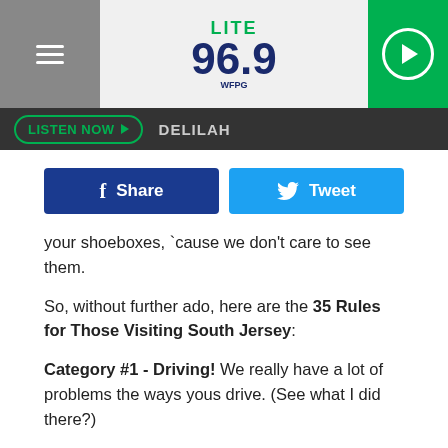[Figure (logo): Lite 96.9 WFPG radio station logo with hamburger menu icon on left and play button on right]
LISTEN NOW  DELILAH
[Figure (infographic): Facebook Share button and Twitter Tweet button side by side]
your shoeboxes, `cause we don't care to see them.
So, without further ado, here are the 35 Rules for Those Visiting South Jersey:
Category #1 - Driving! We really have a lot of problems the ways yous drive. (See what I did there?)
1.